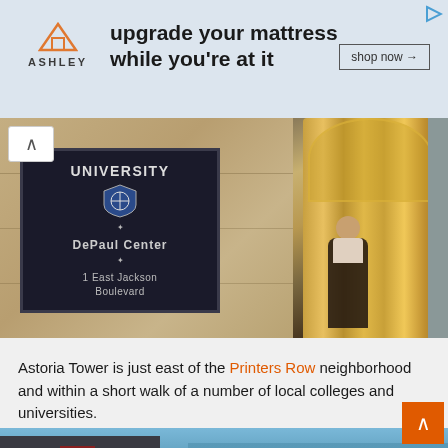[Figure (screenshot): Ashley Furniture advertisement banner: orange house logo, bold text 'upgrade your mattress while you're at it', and a 'shop now →' button on the right]
[Figure (photo): DePaul University building exterior with dark plaque reading 'UNIVERSITY / DePaul Center / 1 East Jackson Boulevard' on stone wall, and a revolving door with a person walking through]
Astoria Tower is just east of the Printers Row neighborhood and within a short walk of a number of local colleges and universities.
[Figure (photo): Aerial view of Chicago skyline with Lake Michigan and parks visible from above]